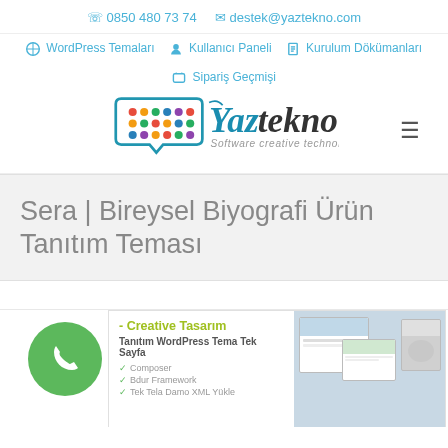0850 480 73 74  destek@yaztekno.com
WordPress Temaları  Kullanıcı Paneli  Kurulum Dökümanları  Sipariş Geçmişi
[Figure (logo): Yaztekno logo with text 'Software creative technology']
Sera | Bireysel Biyografi Ürün Tanıtım Teması
[Figure (screenshot): Creative Tasarım - Tanıtım WordPress Tema Tek Sayfa product card with screenshots]